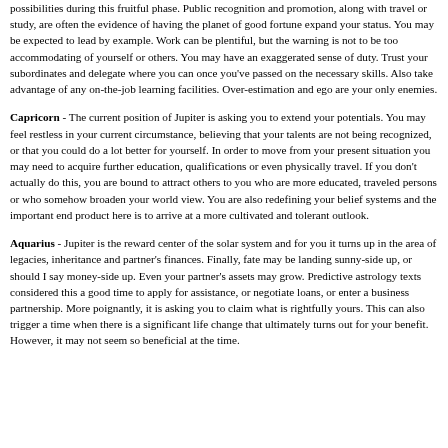possibilities during this fruitful phase. Public recognition and promotion, along with travel or study, are often the evidence of having the planet of good fortune expand your status. You may be expected to lead by example. Work can be plentiful, but the warning is not to be too accommodating of yourself or others. You may have an exaggerated sense of duty. Trust your subordinates and delegate where you can once you've passed on the necessary skills. Also take advantage of any on-the-job learning facilities. Over-estimation and ego are your only enemies.
Capricorn - The current position of Jupiter is asking you to extend your potentials. You may feel restless in your current circumstance, believing that your talents are not being recognized, or that you could do a lot better for yourself. In order to move from your present situation you may need to acquire further education, qualifications or even physically travel. If you don't actually do this, you are bound to attract others to you who are more educated, traveled persons or who somehow broaden your world view. You are also redefining your belief systems and the important end product here is to arrive at a more cultivated and tolerant outlook.
Aquarius - Jupiter is the reward center of the solar system and for you it turns up in the area of legacies, inheritance and partner's finances. Finally, fate may be landing sunny-side up, or should I say money-side up. Even your partner's assets may grow. Predictive astrology texts considered this a good time to apply for assistance, or negotiate loans, or enter a business partnership. More poignantly, it is asking you to claim what is rightfully yours. This can also trigger a time when there is a significant life change that ultimately turns out for your benefit. However, it may not seem so beneficial at the time.